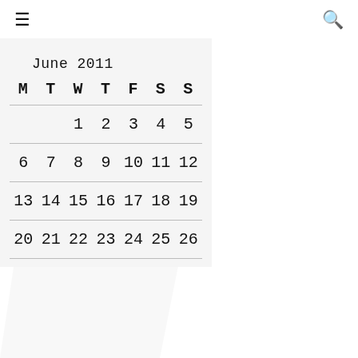≡   🔍
June 2011
| M | T | W | T | F | S | S |
| --- | --- | --- | --- | --- | --- | --- |
|  |  | 1 | 2 | 3 | 4 | 5 |
| 6 | 7 | 8 | 9 | 10 | 11 | 12 |
| 13 | 14 | 15 | 16 | 17 | 18 | 19 |
| 20 | 21 | 22 | 23 | 24 | 25 | 26 |